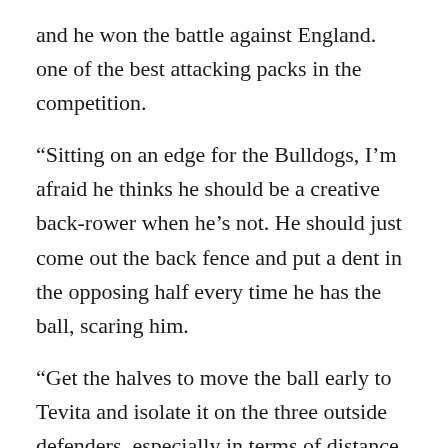and he won the battle against England. one of the best attacking packs in the competition.
“Sitting on an edge for the Bulldogs, I’m afraid he thinks he should be a creative back-rower when he’s not. He should just come out the back fence and put a dent in the opposing half every time he has the ball, scaring him.
“Get the halves to move the ball early to Tevita and isolate it on the three outside defenders, especially in terms of distance, making sure they feel the weight of one of the most powerful athletes in our game. But we didn’t see that in testing.
The NRL announced its judicial overhaul on Thursday which means repeat offenders with bad backgrounds will not be punished as harshly, which Barrett applauded as it will help players like Pangai, Hetherington and Luke Thompson.